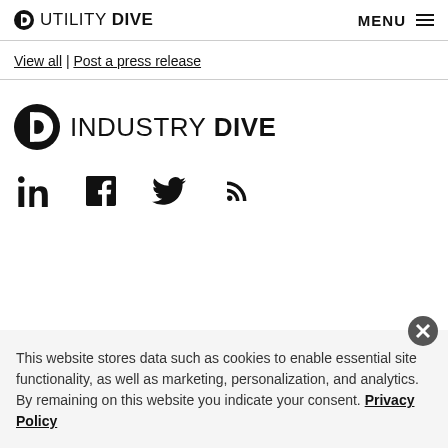UTILITY DIVE | MENU
View all | Post a press release
[Figure (logo): Industry Dive logo with circular D icon]
[Figure (infographic): Social media icons: LinkedIn, Facebook, Twitter, RSS]
This website stores data such as cookies to enable essential site functionality, as well as marketing, personalization, and analytics. By remaining on this website you indicate your consent. Privacy Policy